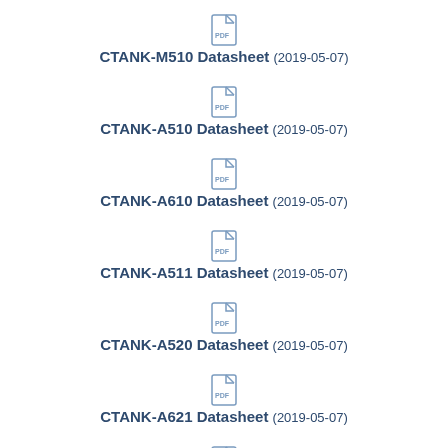CTANK-M510 Datasheet (2019-05-07)
CTANK-A510 Datasheet (2019-05-07)
CTANK-A610 Datasheet (2019-05-07)
CTANK-A511 Datasheet (2019-05-07)
CTANK-A520 Datasheet (2019-05-07)
CTANK-A621 Datasheet (2019-05-07)
CTANK-A611 Datasheet (2019-05-07)